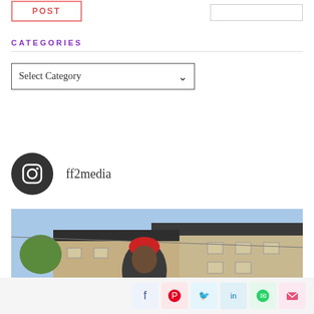POST
CATEGORIES
Select Category
[Figure (logo): Instagram icon circle logo with handle ff2media]
ff2media
[Figure (photo): A man wearing a red beanie hat standing in front of row houses/townhouses, looking upward, wearing a grey shirt. Urban neighborhood setting.]
Social share buttons: Facebook, Pinterest, Twitter, LinkedIn, WhatsApp, Email